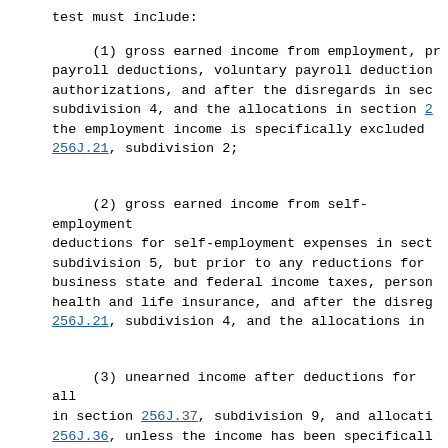test must include:
(1) gross earned income from employment, prior to mandatory payroll deductions, voluntary payroll deductions authorized by written authorizations, and after the disregards in section 256J.21, subdivision 4, and the allocations in section 256J.36, unless the employment income is specifically excluded under section 256J.21, subdivision 2;
(2) gross earned income from self-employment after deductions for self-employment expenses in section 256J.37, subdivision 5, but prior to any reductions for self-employment business state and federal income taxes, personal insurance, health and life insurance, and after the disregards in section 256J.21, subdivision 4, and the allocations in
(3) unearned income after deductions for allowances listed in section 256J.37, subdivision 9, and allocations in section 256J.36, unless the income has been specifically excluded under section 256J.21, subdivision 2;